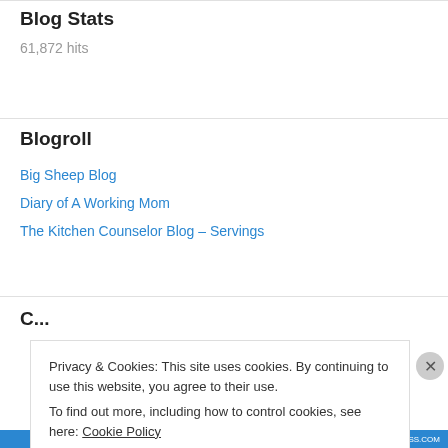Blog Stats
61,872 hits
Blogroll
Big Sheep Blog
Diary of A Working Mom
The Kitchen Counselor Blog – Servings
Privacy & Cookies: This site uses cookies. By continuing to use this website, you agree to their use. To find out more, including how to control cookies, see here: Cookie Policy
Close and accept